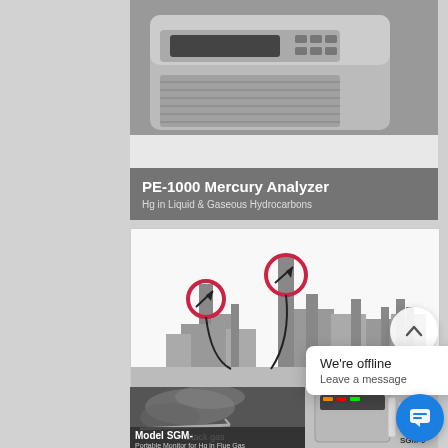[Figure (photo): PE-1000 Mercury Analyzer device photo showing top of analyzer unit with display and buttons]
PE-1000 Mercury Analyzer
Hg in Liquid & Gaseous Hydrocarbons
[Figure (engineering-diagram): Industrial factory silhouette diagram showing stacks with red circle markers indicating mercury monitoring sampling points, with lines leading to analyzer]
[Figure (photo): Model SGM portable monitor for Hg in flue gas - shows stack gas sampling setup and SGM-9 device]
Model SGM-
Portable Monitor for Hg in Flue Gas
Stack gas
SGM-9
We're offline
Leave a message